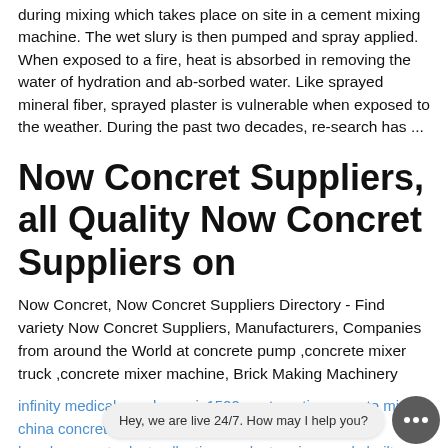during mixing which takes place on site in a cement mixing machine. The wet slury is then pumped and spray applied. When exposed to a fire, heat is absorbed in removing the water of hydration and ab-sorbed water. Like sprayed mineral fiber, sprayed plaster is vulnerable when exposed to the weather. During the past two decades, re-search has ...
Now Concret Suppliers, all Quality Now Concret Suppliers on
Now Concret, Now Concret Suppliers Directory - Find variety Now Concret Suppliers, Manufacturers, Companies from around the World at concrete pump ,concrete mixer truck ,concrete mixer machine, Brick Making Machinery
infinity medical supply sgs js1500a automatic concrete mixer china concrete mixer in
bosch concrete dust collection product review ready built factory for rent
mobile plants batching plants schwing stetter in lalibela capacity 75m3 h common fault detection and maintenance concrete mixing pl...
map from ferozepur road to barki road stationary hzs25 low